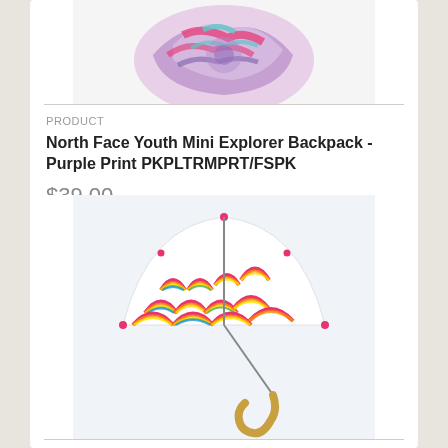[Figure (photo): North Face Youth Mini Explorer Backpack in Purple Print - colorful swirled pattern backpack viewed from above]
PRODUCT
North Face Youth Mini Explorer Backpack - Purple Print PKPLTRMPRT/FSPK
$39.00
[Figure (photo): Children's umbrella with rainbow pattern and wooden hook handle, open and displayed against white background]
PRODUCT